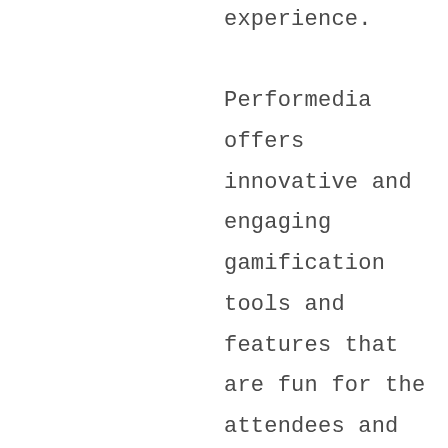experience. Performedia offers innovative and engaging gamification tools and features that are fun for the attendees and beneficial to the sponsors. In addition, our user-friendly immersive virtual environments help to deliver quality event